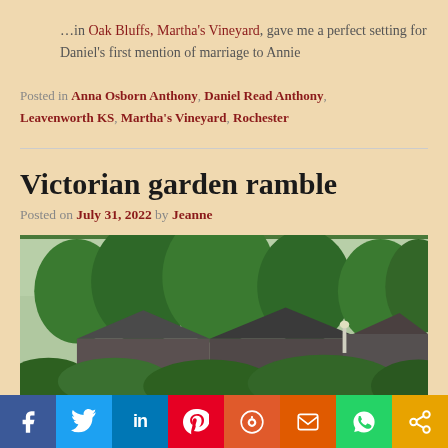…in Oak Bluffs, Martha's Vineyard, gave me a perfect setting for Daniel's first mention of marriage to Annie
Posted in Anna Osborn Anthony, Daniel Read Anthony, Leavenworth KS, Martha's Vineyard, Rochester
Victorian garden ramble
Posted on July 31, 2022 by Jeanne
[Figure (photo): Outdoor photo showing trees and rooftops of houses with green foliage]
Facebook, Twitter, LinkedIn, Pinterest, Reddit, Mix, WhatsApp, Share social sharing buttons